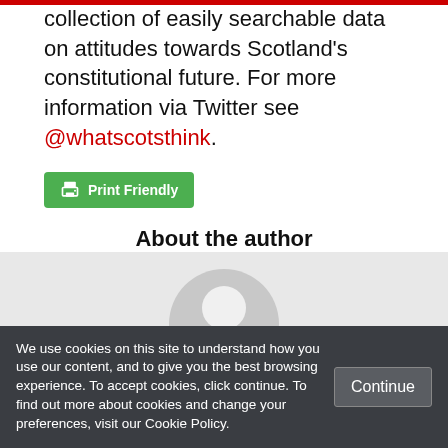collection of easily searchable data on attitudes towards Scotland's constitutional future. For more information via Twitter see @whatscotsthink.
[Figure (other): Green 'Print Friendly' button with printer icon]
About the author
[Figure (other): Generic user avatar placeholder circle icon on grey background]
We use cookies on this site to understand how you use our content, and to give you the best browsing experience. To accept cookies, click continue. To find out more about cookies and change your preferences, visit our Cookie Policy.